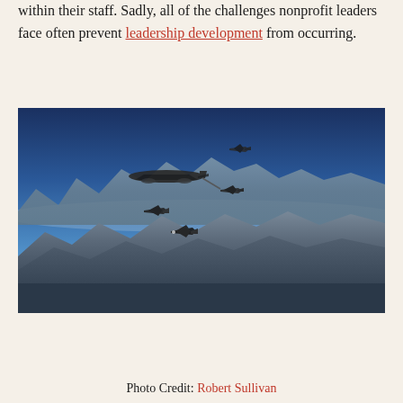within their staff. Sadly, all of the challenges nonprofit leaders face often prevent leadership development from occurring.
[Figure (photo): Aerial photograph of military aircraft in formation flight over mountainous desert terrain. A large tanker aircraft is shown refueling a fighter jet via a boom, with additional F-35 fighter jets flying in formation below and around the tanker.]
Photo Credit: Robert Sullivan